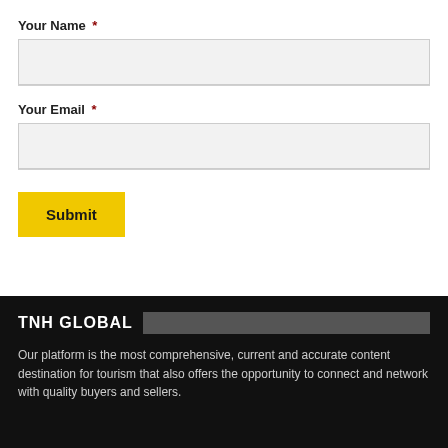Your Name *
Your Email *
Submit
TNH GLOBAL
Our platform is the most comprehensive, current and accurate content destination for tourism that also offers the opportunity to connect and network with quality buyers and sellers.